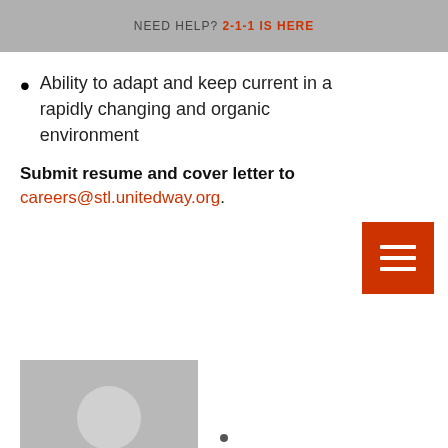NEED HELP? 2-1-1 IS HERE
Ability to adapt and keep current in a rapidly changing and organic environment
Submit resume and cover letter to careers@stl.unitedway.org.
[Figure (photo): Generic avatar placeholder image of a person silhouette with grey background]
James Taylor